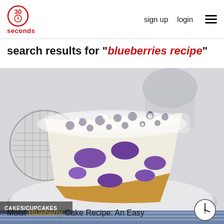30 seconds | sign up | login
search results for "blueberries recipe"
[Figure (photo): A slice of moist blueberry cake dusted with powdered sugar on a white plate, with a metal sieve in the background. Category label: CAKES/CUPCAKES with a clock icon.]
Moist Blueberry Cake Recipe: An Easy